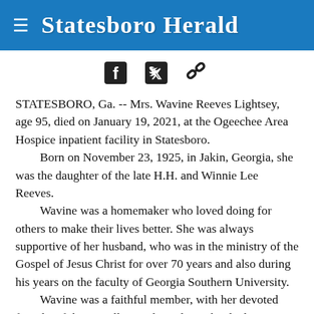Statesboro Herald
[Figure (other): Social sharing icons: Facebook, Twitter, and link/chain icon]
STATESBORO, Ga. -- Mrs. Wavine Reeves Lightsey, age 95, died on January 19, 2021, at the Ogeechee Area Hospice inpatient facility in Statesboro. Born on November 23, 1925, in Jakin, Georgia, she was the daughter of the late H.H. and Winnie Lee Reeves. Wavine was a homemaker who loved doing for others to make their lives better. She was always supportive of her husband, who was in the ministry of the Gospel of Jesus Christ for over 70 years and also during his years on the faculty of Georgia Southern University. Wavine was a faithful member, with her devoted friends, of the Camilla Boyd Sunday School Class at